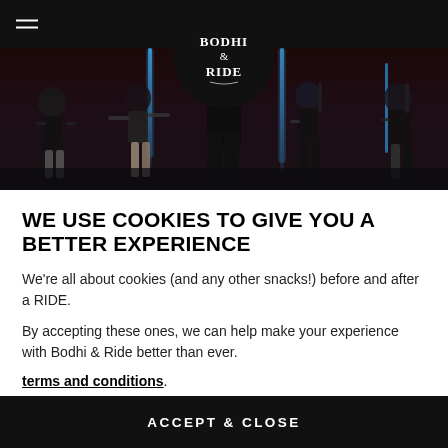[Figure (photo): Hero banner showing multiple people exercising in a dark studio with neon blue vertical light strips on a brick wall. A Bodhi & Ride logo in a black circle is overlaid at the top center. A hamburger menu icon is visible at the top left on a black navigation bar.]
WE USE COOKIES TO GIVE YOU A BETTER EXPERIENCE
We're all about cookies (and any other snacks!) before and after a RIDE.
By accepting these ones, we can help make your experience with Bodhi & Ride better than ever.
terms and conditions.
ACCEPT & CLOSE